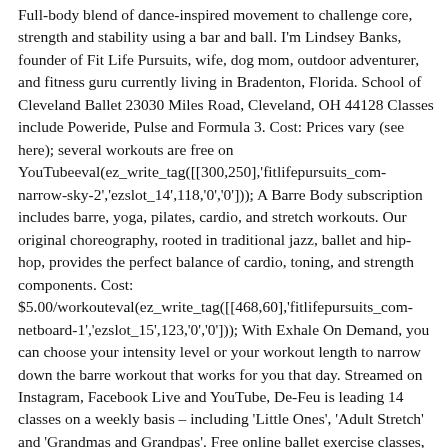Full-body blend of dance-inspired movement to challenge core, strength and stability using a bar and ball. I'm Lindsey Banks, founder of Fit Life Pursuits, wife, dog mom, outdoor adventurer, and fitness guru currently living in Bradenton, Florida. School of Cleveland Ballet 23030 Miles Road, Cleveland, OH 44128 Classes include Poweride, Pulse and Formula 3. Cost: Prices vary (see here); several workouts are free on YouTubeeval(ez_write_tag([[300,250],'fitlifepursuits_com-narrow-sky-2','ezslot_14',118,'0','0'])); A Barre Body subscription includes barre, yoga, pilates, cardio, and stretch workouts. Our original choreography, rooted in traditional jazz, ballet and hip-hop, provides the perfect balance of cardio, toning, and strength components. Cost:
$5.00/workouteval(ez_write_tag([[468,60],'fitlifepursuits_com-netboard-1','ezslot_15',123,'0','0'])); With Exhale On Demand, you can choose your intensity level or your workout length to narrow down the barre workout that works for you that day. Streamed on Instagram, Facebook Live and YouTube, De-Feu is leading 14 classes on a weekly basis – including 'Little Ones', 'Adult Stretch' and 'Grandmas and Grandpas'. Free online ballet exercise classes, designed to get the older generation moving to the music at home.. From experienced dancers to those that don't know their plié from their pointe, older learners of any ability are invited to try out free Silver Swans classes. The Australian Ballet exists to inspire, delight and challenge audiences through the power of its